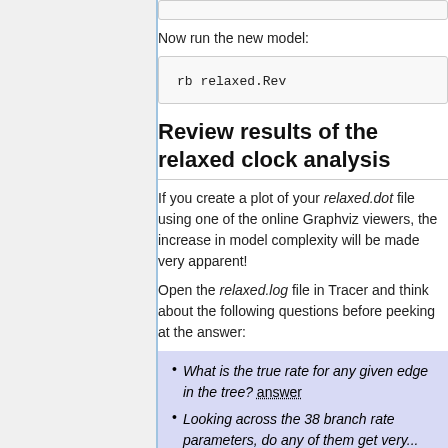Now run the new model:
Review results of the relaxed clock analysis
If you create a plot of your relaxed.dot file using one of the online Graphviz viewers, the increase in model complexity will be made very apparent!
Open the relaxed.log file in Tracer and think about the following questions before peeking at the answer:
What is the true rate for any given edge in the tree? answer
Looking across the 38 branch rate parameters, do any of them get very...